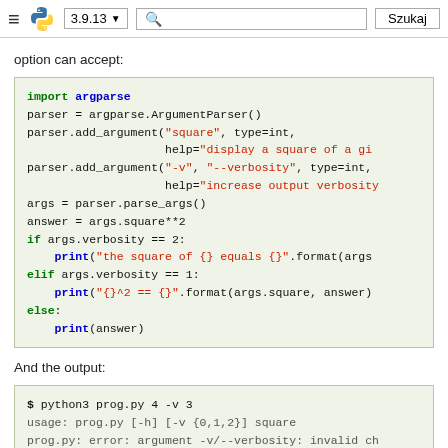≡ 🐍 3.9.13 ▾ [search] Szukaj
option can accept:
[Figure (screenshot): Python code block showing argparse example with import, ArgumentParser, add_argument calls with 'square' and '-v'/'--verbosity', parse_args, conditional verbosity output]
And the output:
[Figure (screenshot): Terminal output block showing: $ python3 prog.py 4 -v 3, usage error for invalid choice, $ python3 prog.py 4 -h, usage line]